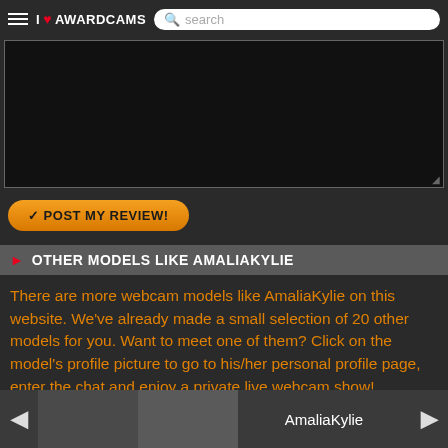I ❤ AWARDCAMS search
[Figure (screenshot): Dark textarea input box for writing a review]
✓ POST MY REVIEW!
► OTHER MODELS LIKE AMALIAKYLIE
There are more webcam models like AmaliaKylie on this website. We've already made a small selection of 20 other models for you. Want to meet one of them? Click on the model's profile picture to go to his/her personal profile page, enter the chat and enjoy a private live webcam show!
AmaliaKylie